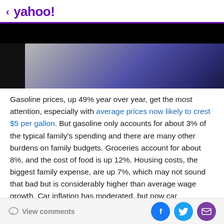< yahoo!
[Figure (photo): Dark hero image with partial view of a person wearing dark clothing, silver/metallic element visible, against a black background]
Gasoline prices, up 49% year over year, get the most attention, especially with average prices now likely to crest $5 per gallon. But gasoline only accounts for about 3% of the typical family's spending and there are many other burdens on family budgets. Groceries account for about 8%, and the cost of food is up 12%. Housing costs, the biggest family expense, are up 7%, which may not sound that bad but is considerably higher than average wage growth. Car inflation has moderated, but now car
View comments